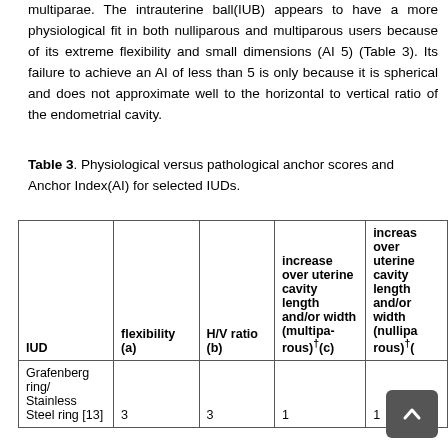multiparae. The intrauterine ball(IUB) appears to have a more physiological fit in both nulliparous and multiparous users because of its extreme flexibility and small dimensions (AI 5) (Table 3). Its failure to achieve an AI of less than 5 is only because it is spherical and does not approximate well to the horizontal to vertical ratio of the endometrial cavity.
Table 3. Physiological versus pathological anchor scores and Anchor Index(AI) for selected IUDs.
| IUD | flexibility (a) | H/V ratio (b) | increase over uterine cavity length and/or width (multiparous)†(c) | increase over uterine cavity length and/or width (nulliparous)†(d) |
| --- | --- | --- | --- | --- |
| Grafenberg ring/ Stainless Steel ring [13] | 3 | 3 | 1 | 1 |